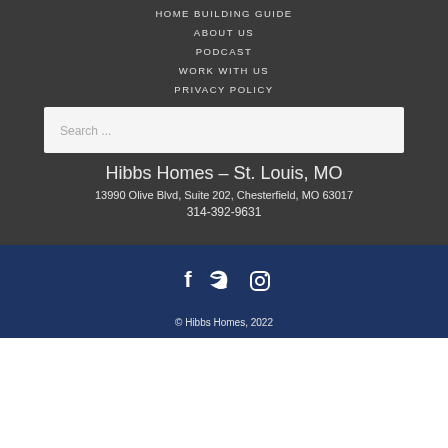HOME BUILDING GUIDE
ABOUT US
PODCAST
WORK WITH US
PRIVACY POLICY
[Figure (other): Search input box with placeholder text 'Search ...']
Hibbs Homes – St. Louis, MO
13990 Olive Blvd, Suite 202, Chesterfield, MO 63017
314-392-9631
[Figure (other): Social media icons: Facebook, Twitter, Instagram]
© Hibbs Homes, 2022